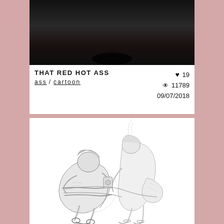[Figure (photo): Dark photograph cropped at top, showing dark background with shadowy object]
THAT RED HOT ASS
ass / cartoon
♥ 19  👁 11789  09/07/2018
[Figure (illustration): Pencil sketch illustration showing two figures in an intimate scene with bondage elements, drawn in black and white sketch style]